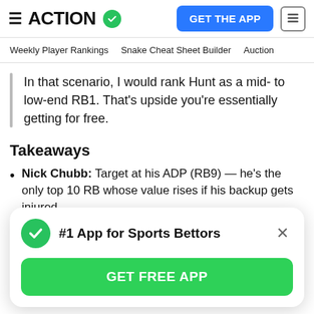ACTION — GET THE APP
Weekly Player Rankings   Snake Cheat Sheet Builder   Auction
In that scenario, I would rank Hunt as a mid- to low-end RB1. That's upside you're essentially getting for free.
Takeaways
Nick Chubb: Target at his ADP (RB9) — he's the only top 10 RB whose value rises if his backup gets injured.
Kareem Hunt: Target at his ADP (RB24). His present talent and role is enough to return value even if Chubb
#1 App for Sports Bettors — GET FREE APP